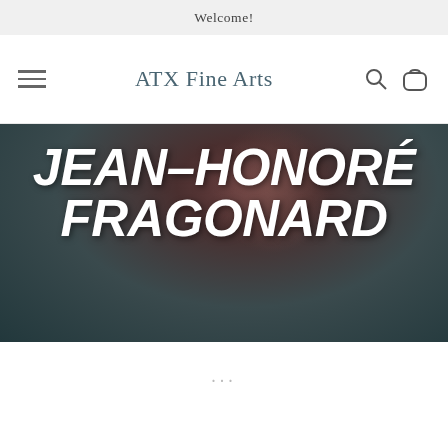Welcome!
ATX Fine Arts
[Figure (photo): Dark background hero image with portrait suggesting a figure, overlaid with large bold italic text reading JEAN-HONORÉ FRAGONARD]
...